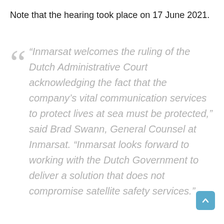Note that the hearing took place on 17 June 2021.
“Inmarsat welcomes the ruling of the Dutch Administrative Court acknowledging the fact that the company’s vital communication services to protect lives at sea must be protected,” said Brad Swann, General Counsel at Inmarsat. “Inmarsat looks forward to working with the Dutch Government to deliver a solution that does not compromise satellite safety services.”